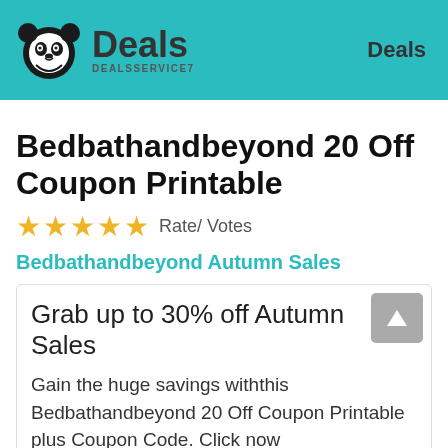Deals  DEALSSERVICE7  Deals
Bedbathandbeyond 20 Off Coupon Printable
★★★★★  Rate/ Votes
Bedbathandbeyond Autumn Sales
Grab up to 30% off Autumn Sales
Gain the huge savings withthis Bedbathandbeyond 20 Off Coupon Printable plus Coupon Code. Click now